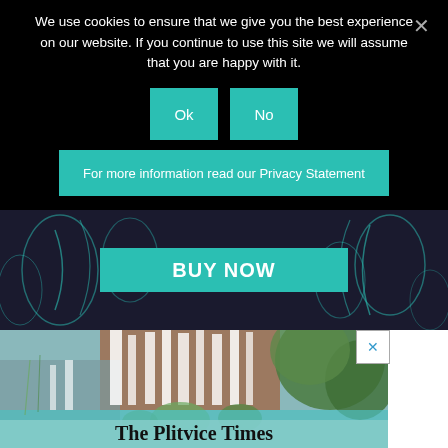We use cookies to ensure that we give you the best experience on our website. If you continue to use this site we will assume that you are happy with it.
Ok
No
For more information read our Privacy Statement
[Figure (illustration): Advertisement banner with dark floral/botanical teal pattern background and a teal 'BUY NOW' button in the center]
[Figure (photo): Photograph of Plitvice Lakes waterfalls with green moss and turquoise water, with 'The Plitvice Times' title overlaid at the bottom]